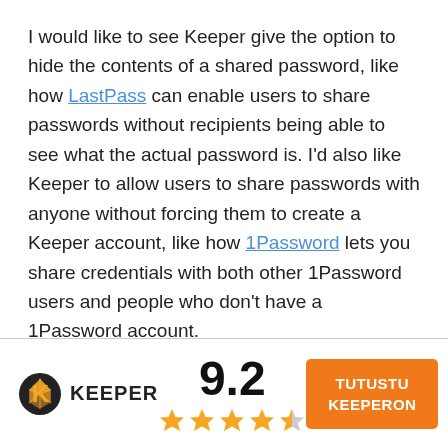I would like to see Keeper give the option to hide the contents of a shared password, like how LastPass can enable users to share passwords without recipients being able to see what the actual password is. I'd also like Keeper to allow users to share passwords with anyone without forcing them to create a Keeper account, like how 1Password lets you share credentials with both other 1Password users and people who don't have a 1Password account.

Overall, I was impressed with Keeper's management features. I had no problems attaching
[Figure (logo): Keeper password manager logo with icon and text, a rating score of 9.2, four and a half gold stars, and an orange CTA button labeled TUTUSTU KEEPERON]